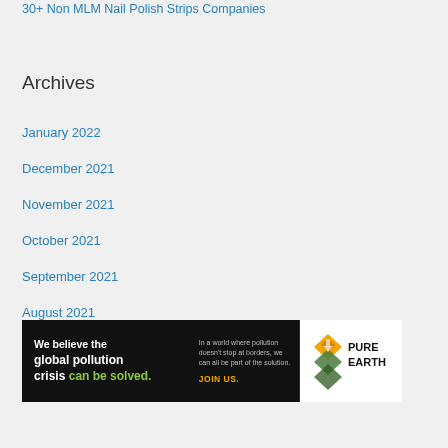30+ Non MLM Nail Polish Strips Companies
Archives
January 2022
December 2021
November 2021
October 2021
September 2021
August 2021
July 2021
[Figure (infographic): Pure Earth advertisement banner: 'We believe the global pollution crisis can be solved. In a world where pollution doesn't stop at borders, we can all be part of the solution. JOIN US.' with Pure Earth logo.]